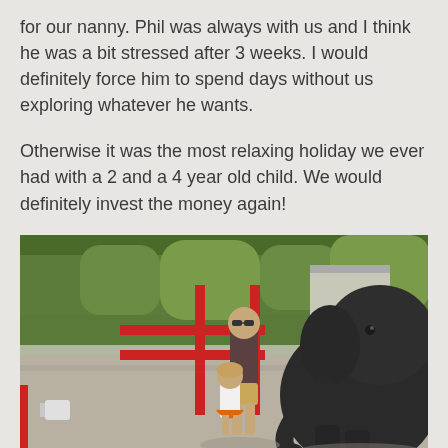for our nanny. Phil was always with us and I think he was a bit stressed after 3 weeks. I would definitely force him to spend days without us exploring whatever he wants.
Otherwise it was the most relaxing holiday we ever had with a 2 and a 4 year old child. We would definitely invest the money again!
[Figure (photo): A person and a young child interact with an elephant at what appears to be an elephant sanctuary or zoo. The setting includes red metal railings, a concrete floor, and lush green trees in the background. The child is wearing a white top and orange skirt.]